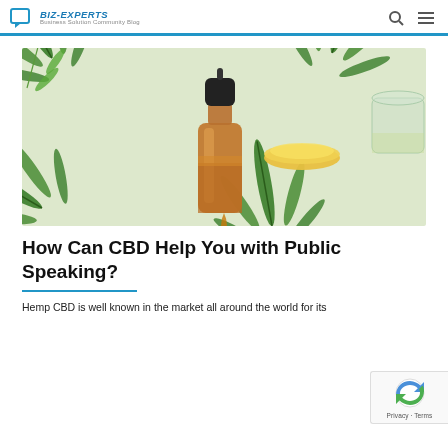BIZ-EXPERTS Business Solution Community Blog
[Figure (photo): CBD oil dropper bottle (amber glass) surrounded by hemp/cannabis leaves and a yellow dish with oil on a light background, plus a glass jar with oil at right]
How Can CBD Help You with Public Speaking?
Hemp CBD is well known in the market all around the world for its